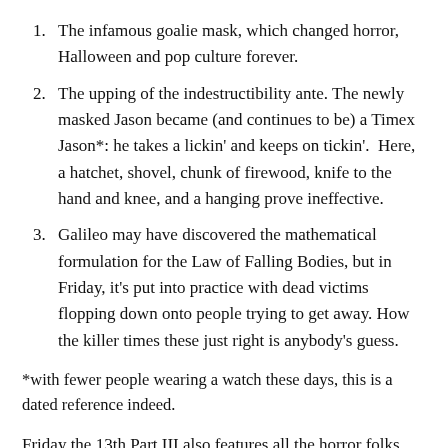The infamous goalie mask, which changed horror, Halloween and pop culture forever.
The upping of the indestructibility ante. The newly masked Jason became (and continues to be) a Timex Jason*: he takes a lickin' and keeps on tickin'.  Here, a hatchet, shovel, chunk of firewood, knife to the hand and knee, and a hanging prove ineffective.
Galileo may have discovered the mathematical formulation for the Law of Falling Bodies, but in Friday, it's put into practice with dead victims flopping down onto people trying to get away. How the killer times these just right is anybody's guess.
*with fewer people wearing a watch these days, this is a dated reference indeed.
Friday the 13th Part III also features all the horror folks we've come to know and love, practicing in the woods. The single